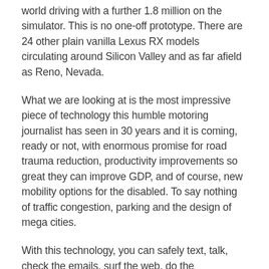world driving with a further 1.8 million on the simulator. This is no one-off prototype. There are 24 other plain vanilla Lexus RX models circulating around Silicon Valley and as far afield as Reno, Nevada.
What we are looking at is the most impressive piece of technology this humble motoring journalist has seen in 30 years and it is coming, ready or not, with enormous promise for road trauma reduction, productivity improvements so great they can improve GDP, and of course, new mobility options for the disabled. To say nothing of traffic congestion, parking and the design of mega cities.
With this technology, you can safely text, talk, check the emails, surf the web, do the conference call or even watch a movie while the car takes you to your destination. No need to find a parking spot either.